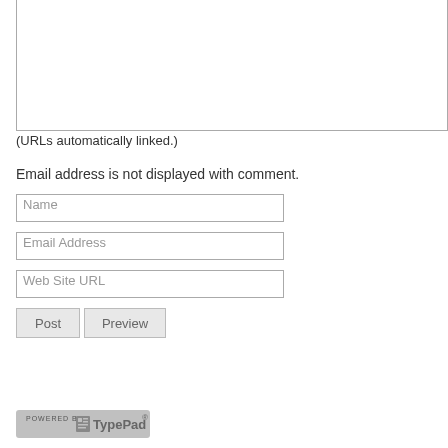[Figure (other): Text area input box (partially visible, top portion cut off)]
(URLs automatically linked.)
Email address is not displayed with comment.
[Figure (other): Name input field with placeholder text 'Name']
[Figure (other): Email Address input field with placeholder text 'Email Address']
[Figure (other): Web Site URL input field with placeholder text 'Web Site URL']
[Figure (other): Post and Preview buttons]
[Figure (logo): Powered by TypePad logo badge]